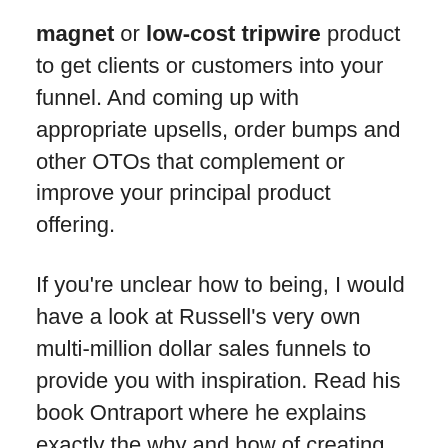magnet or low-cost tripwire product to get clients or customers into your funnel. And coming up with appropriate upsells, order bumps and other OTOs that complement or improve your principal product offering.
If you're unclear how to being, I would have a look at Russell's very own multi-million dollar sales funnels to provide you with inspiration. Read his book Ontraport where he explains exactly the why and how of creating sales funnels and how to tell stories to sell your products and services.
And as you go through his own sales funnels yourself you can observe the way he goes from low-cost tripwire (Ontraport) into selling his